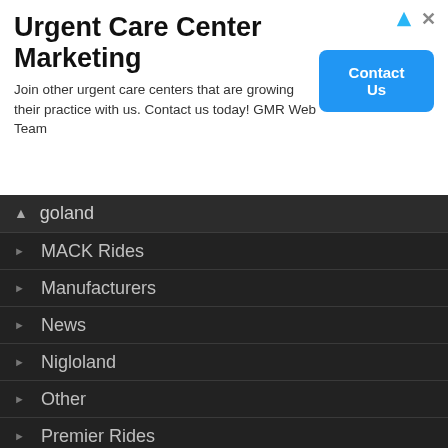[Figure (screenshot): Advertisement banner for Urgent Care Center Marketing by GMR Web Team with a blue Contact Us button]
goland (expanded, with up arrow)
MACK Rides
Manufacturers
News
Nigloland
Other
Premier Rides
Reviews
Rocky Mountain Construction
Rumors